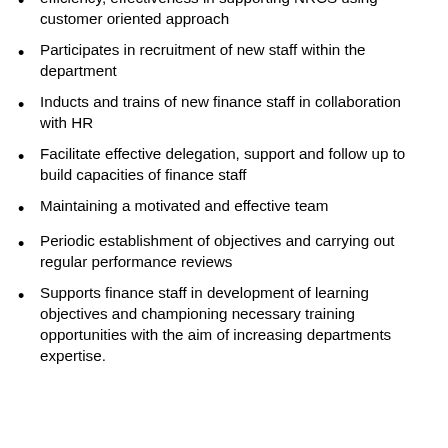efficiency, effectiveness in supporting NRCS using customer oriented approach
Participates in recruitment of new staff within the department
Inducts and trains of new finance staff in collaboration with HR
Facilitate effective delegation, support and follow up to build capacities of finance staff
Maintaining a motivated and effective team
Periodic establishment of objectives and carrying out regular performance reviews
Supports finance staff in development of learning objectives and championing necessary training opportunities with the aim of increasing departments expertise.